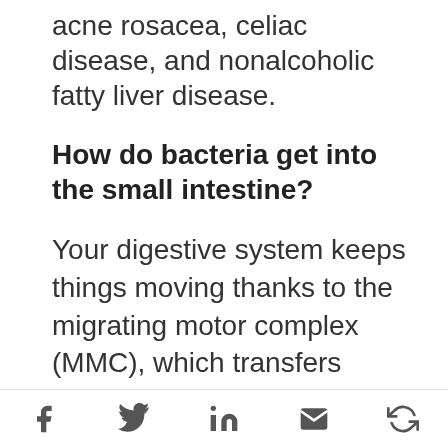acne rosacea, celiac disease, and nonalcoholic fatty liver disease.
How do bacteria get into the small intestine?
Your digestive system keeps things moving thanks to the migrating motor complex (MMC), which transfers bacteria down into the lower intestine when the body is fasting between meals and at night. Anything that inhibits the MMC can allow bacteria to accumulate in the small bowel. Food poisoning, for example, may trigger gut neuropathy and stasis, leading to overgrowth. Even stress can disrupt the
Social share icons: Facebook, Twitter, LinkedIn, Email, Other